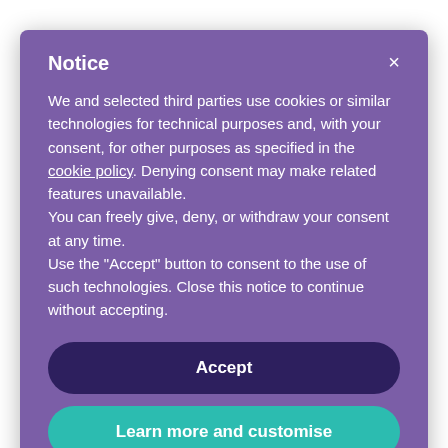Notice
We and selected third parties use cookies or similar technologies for technical purposes and, with your consent, for other purposes as specified in the cookie policy. Denying consent may make related features unavailable.
You can freely give, deny, or withdraw your consent at any time.
Use the “Accept” button to consent to the use of such technologies. Close this notice to continue without accepting.
Accept
Learn more and customise
ecosystems, with a particular emphasis on the healthcare sector. CHERRIES partners shared their experiences in implementing...